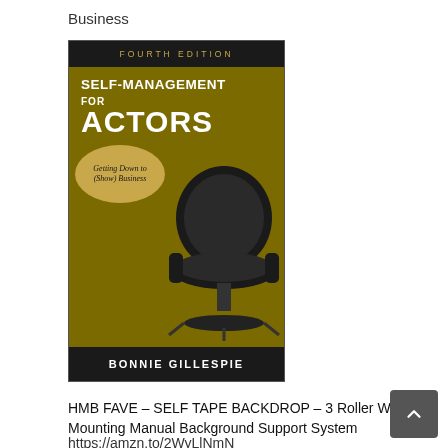Business
[Figure (photo): Book cover of 'Self-Management for Actors' Fourth Edition by Bonnie Gillespie. Dark golden/olive background with a black leather office chair in the center. Top bar reads 'FOURTH EDITION'. Title reads 'Self-Management for Actors'. Subtitle in a circular bubble: 'Getting Down to (Show) Business'. Author name 'BONNIE GILLESPIE' at the bottom.]
HMB FAVE – SELF TAPE BACKDROP – 3 Roller Wall Mounting Manual Background Support System
https://amzn.to/2WyLlNmN